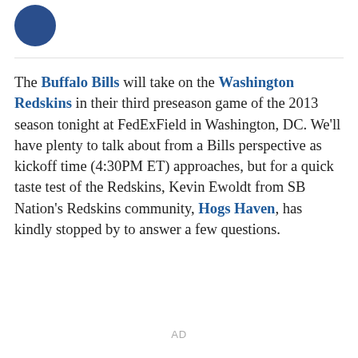[Figure (illustration): Circular avatar/profile image in dark blue]
The Buffalo Bills will take on the Washington Redskins in their third preseason game of the 2013 season tonight at FedExField in Washington, DC. We'll have plenty to talk about from a Bills perspective as kickoff time (4:30PM ET) approaches, but for a quick taste test of the Redskins, Kevin Ewoldt from SB Nation's Redskins community, Hogs Haven, has kindly stopped by to answer a few questions.
AD